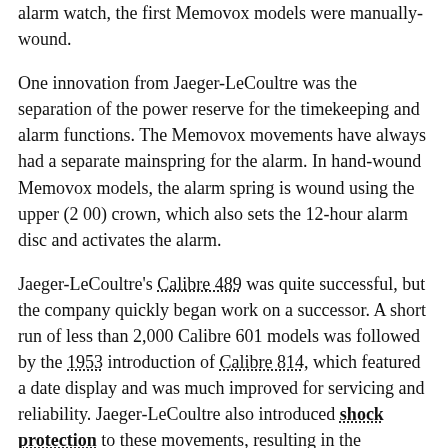alarm watch, the first Memovox models were manually-wound.
One innovation from Jaeger-LeCoultre was the separation of the power reserve for the timekeeping and alarm functions. The Memovox movements have always had a separate mainspring for the alarm. In hand-wound Memovox models, the alarm spring is wound using the upper (2 00) crown, which also sets the 12-hour alarm disc and activates the alarm.
Jaeger-LeCoultre's Calibre 489 was quite successful, but the company quickly began work on a successor. A short run of less than 2,000 Calibre 601 models was followed by the 1953 introduction of Calibre 814, which featured a date display and was much improved for servicing and reliability. Jaeger-LeCoultre also introduced shock protection to these movements, resulting in the Parachoc-equipped Calibre P489 and the Parachoc or